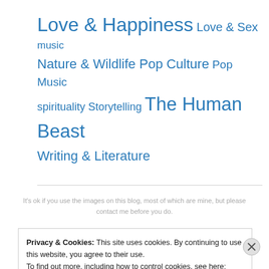Love & Happiness  Love & Sex  music  Nature & Wildlife  Pop Culture  Pop Music  spirituality  Storytelling  The Human Beast  Writing & Literature
It's ok if you use the images on this blog, most of which are mine, but please contact me before you do.
Privacy & Cookies: This site uses cookies. By continuing to use this website, you agree to their use.
To find out more, including how to control cookies, see here: Cookie Policy